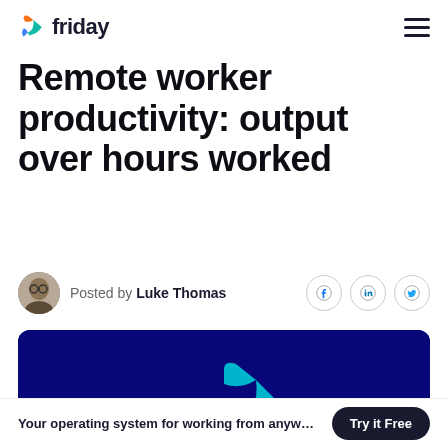friday
Remote worker productivity: output over hours worked
Posted by Luke Thomas
[Figure (photo): Dark navy blue hero image with the Friday logo (cyan/teal stylized F icon) centered at the bottom]
Your operating system for working from anyw... Try it Free